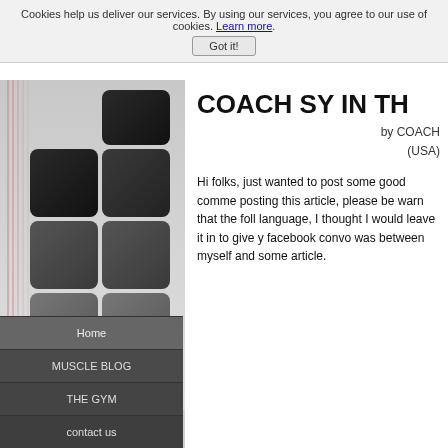Cookies help us deliver our services. By using our services, you agree to our use of cookies. Learn more. Got it!
[Figure (illustration): Left sidebar with decorative red vertical lines and a grid of square tiles graduating from black at the top to light gray at the bottom, with navigation menu below.]
COACH SY IN TH
by COACH (USA)
Hi folks, just wanted to post some good comme posting this article, please be warn that the foll language, I thought I would leave it in to give y facebook convo was between myself and some article.